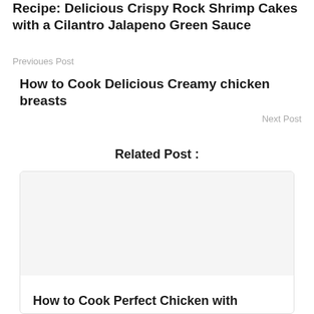Recipe: Delicious Crispy Rock Shrimp Cakes with a Cilantro Jalapeno Green Sauce
Previoues Post
How to Cook Delicious Creamy chicken breasts
Next Post
Related Post :
How to Cook Perfect Chicken with